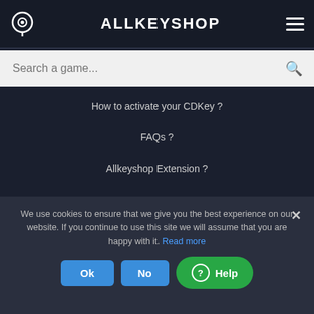ALLKEYSHOP
Search a game...
How to activate your CDKey ?
FAQs ?
Allkeyshop Extension ?
PARTNERSHIP
Twitch
Youtube
Website
Wheel Creation
We use cookies to ensure that we give you the best experience on our website. If you continue to use this site we will assume that you are happy with it. Read more